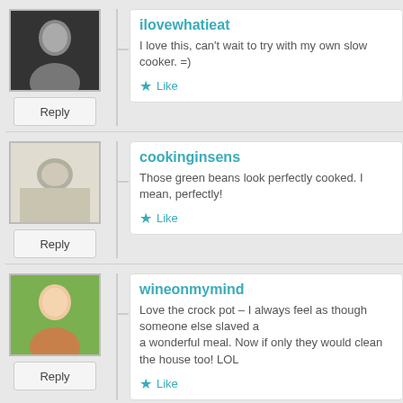ilovewhatieat
I love this, can't wait to try with my own slow cooker. =)
Like
cookinginsens
Those green beans look perfectly cooked. I mean, perfectly!
Like
wineonmymind
Love the crock pot – I always feel as though someone else slaved a a wonderful meal. Now if only they would clean the house too! LOL
Like
Advertisements
[Figure (screenshot): WooCommerce advertisement banner: 'Turn your hobby into a business in 8 steps']